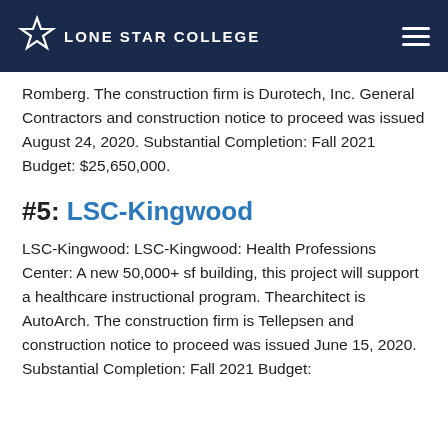Lone Star College
Romberg. The construction firm is Durotech, Inc. General Contractors and construction notice to proceed was issued August 24, 2020. Substantial Completion: Fall 2021 Budget: $25,650,000.
#5: LSC-Kingwood
LSC-Kingwood: LSC-Kingwood: Health Professions Center: A new 50,000+ sf building, this project will support a healthcare instructional program. Thearchitect is AutoArch. The construction firm is Tellepsen and construction notice to proceed was issued June 15, 2020. Substantial Completion: Fall 2021 Budget: